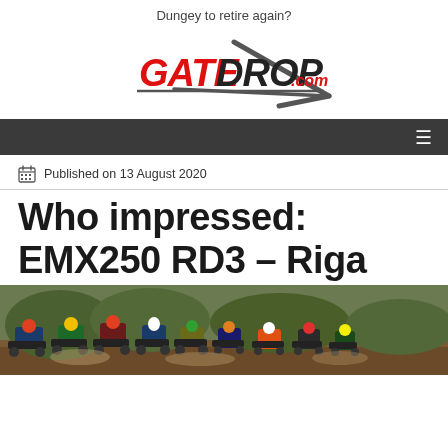Dungey to retire again?
[Figure (logo): GateDrop.com logo with diagonal motocross gate graphic]
[Figure (screenshot): Dark navigation bar with hamburger menu icon on right]
Published on 13 August 2020
Who impressed: EMX250 RD3 – Riga
[Figure (photo): Motocross race start photo showing multiple riders on dirt track at Riga EMX250 Round 3]